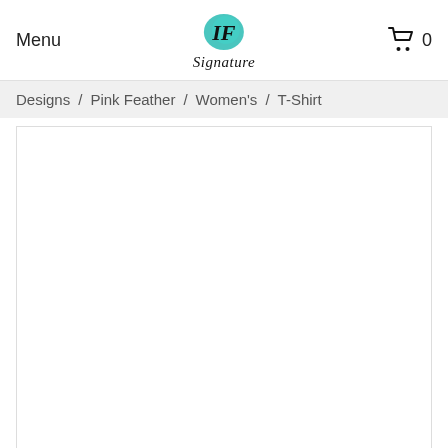Menu | IF Signature | 0
Designs / Pink Feather / Women's / T-Shirt
[Figure (photo): White product photo area for T-Shirt]